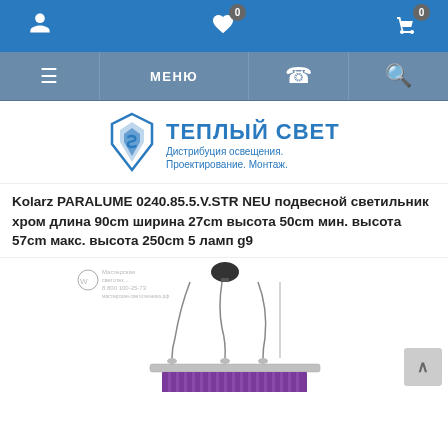Navigation bar with user, wishlist (0), cart (0) icons and МЕНЮ
[Figure (logo): Теплый Свет logo with blue geometric diamond icon and text: ТЕПЛЫЙ СВЕТ, Дистрибуция освещения. Проектирование. Монтаж.]
Kolarz PARALUME 0240.85.5.V.STR NEU подвесной светильник хром длина 90cm ширина 27cm высота 50cm мин. высота 57cm макс. высота 250cm 5 ламп g9
[Figure (photo): Product photo of Kolarz PARALUME pendant light with chrome frame, purple/violet lampshade, and multiple pendant cables with small lamp holders.]